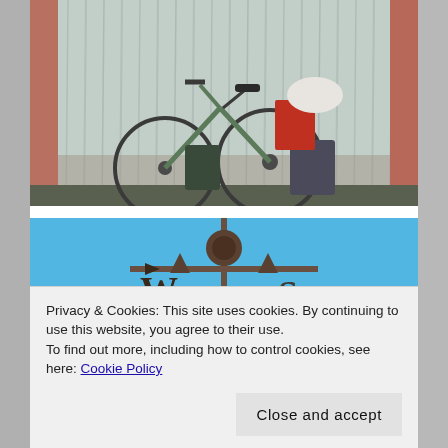[Figure (photo): A bicycle loaded with panniers and a helmet leaning against weathered light-blue wooden barn doors. Red brick pillars on sides. Ground is paved with moss.]
[Figure (photo): A metal weather vane compass indicator against a bright blue sky, showing W and S directional letters with an anchor/arrow shape.]
[Figure (photo): Partial view of a colorful image at the bottom of the page — orange and blue colors visible, content cut off.]
Privacy & Cookies: This site uses cookies. By continuing to use this website, you agree to their use.
To find out more, including how to control cookies, see here: Cookie Policy
Close and accept